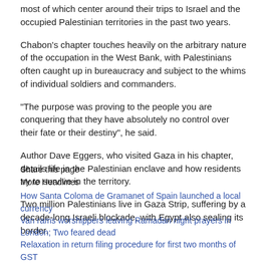most of which center around their trips to Israel and the occupied Palestinian territories in the past two years.
Chabon's chapter touches heavily on the arbitrary nature of the occupation in the West Bank, with Palestinians often caught up in bureaucracy and subject to the whims of individual soldiers and commanders.
"The purpose was proving to the people you are conquering that they have absolutely no control over their fate or their destiny", he said.
Author Dave Eggers, who visited Gaza in his chapter, details life in the Palestinian enclave and how residents try to survive in the territory.
Two million Palestinians live in Gaza Strip, suffering by a decade-long Israeli blockade, with Egypt also sealing its border.
Share this page
More Headlines
How Santa Coloma de Gramanet of Spain launched a local currency
Van rams worshippers leaving Ramadan night prayers in London; Two feared dead
Relaxation in return filing procedure for first two months of GST